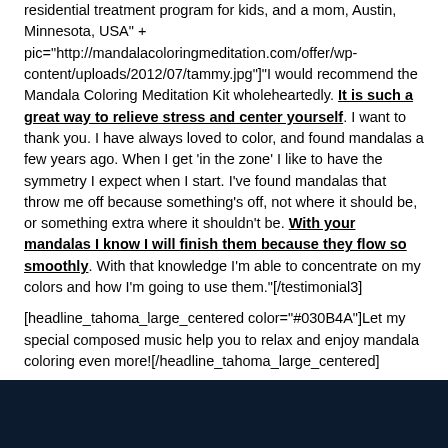residential treatment program for kids, and a mom, Austin, Minnesota, USA" + pic="http://mandalacoloringmeditation.com/offer/wp-content/uploads/2012/07/tammy.jpg"]"I would recommend the Mandala Coloring Meditation Kit wholeheartedly. It is such a great way to relieve stress and center yourself. I want to thank you. I have always loved to color, and found mandalas a few years ago. When I get 'in the zone' I like to have the symmetry I expect when I start. I've found mandalas that throw me off because something's off, not where it should be, or something extra where it shouldn't be. With your mandalas I know I will finish them because they flow so smoothly. With that knowledge I'm able to concentrate on my colors and how I'm going to use them."[/testimonial3]
[headline_tahoma_large_centered color="#030B4A"]Let my special composed music help you to relax and enjoy mandala coloring even more![/headline_tahoma_large_centered]
[Figure (other): Dark navy/black bar at bottom of page]